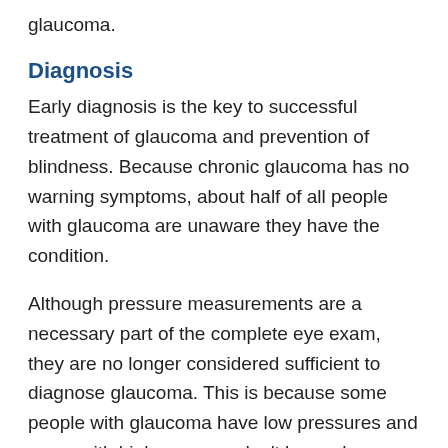glaucoma.
Diagnosis
Early diagnosis is the key to successful treatment of glaucoma and prevention of blindness. Because chronic glaucoma has no warning symptoms, about half of all people with glaucoma are unaware they have the condition.
Although pressure measurements are a necessary part of the complete eye exam, they are no longer considered sufficient to diagnose glaucoma. This is because some people with glaucoma have low pressures and many with high pressure don't have glaucoma.
An eye doctor should always inspect the optic nerve through an ophthalmoscope. If the nerve is unusually